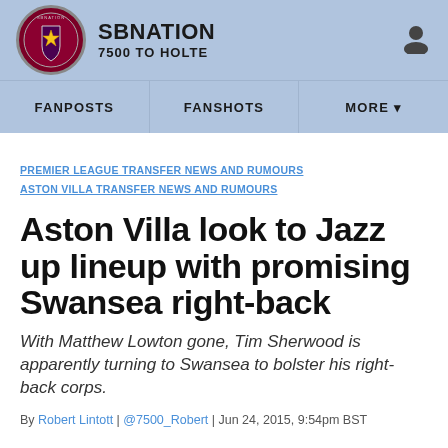[Figure (logo): SBNation 7500 To Holte site header with logo, site name, and user icon on light blue background]
FANPOSTS | FANSHOTS | MORE
PREMIER LEAGUE TRANSFER NEWS AND RUMOURS
ASTON VILLA TRANSFER NEWS AND RUMOURS
Aston Villa look to Jazz up lineup with promising Swansea right-back
With Matthew Lowton gone, Tim Sherwood is apparently turning to Swansea to bolster his right-back corps.
By Robert Lintott | @7500_Robert | Jun 24, 2015, 9:54pm BST